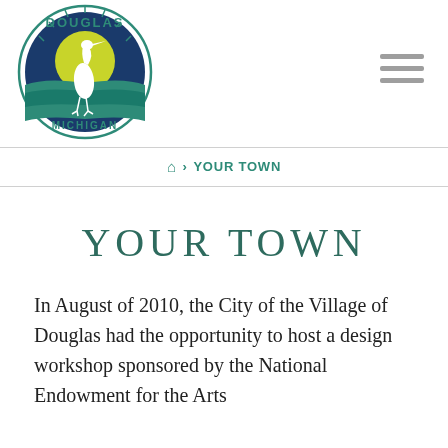[Figure (logo): Douglas Michigan village logo — circular seal with a heron bird standing in water against a yellow-green sun, dark blue background, teal text reading DOUGLAS on top and MICHIGAN on bottom, with radiating lines at the top of the circle]
≡ (hamburger menu icon)
🏠 › YOUR TOWN
YOUR TOWN
In August of 2010, the City of the Village of Douglas had the opportunity to host a design workshop sponsored by the National Endowment for the Arts